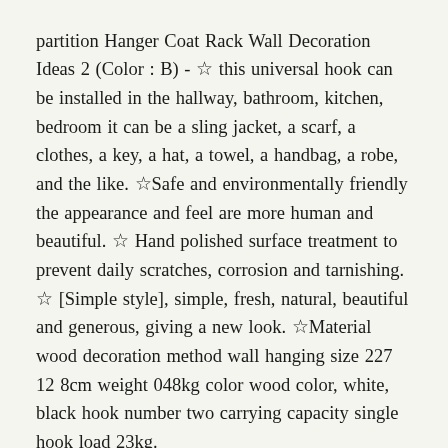partition Hanger Coat Rack Wall Decoration Ideas 2 (Color : B) - ☆ this universal hook can be installed in the hallway, bathroom, kitchen, bedroom it can be a sling jacket, a scarf, a clothes, a key, a hat, a towel, a handbag, a robe, and the like. ☆Safe and environmentally friendly the appearance and feel are more human and beautiful. ☆ Hand polished surface treatment to prevent daily scratches, corrosion and tarnishing. ☆ [Simple style], simple, fresh, natural, beautiful and generous, giving a new look. ☆Material wood decoration method wall hanging size 227 12 8cm weight 048kg color wood color, white, black hook number two carrying capacity single hook load 23kg.